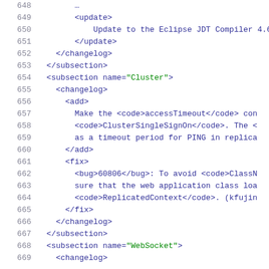648 ...
649     <update>
650         Update to the Eclipse JDT Compiler 4.6.
651     </update>
652   </changelog>
653 </subsection>
654 <subsection name="Cluster">
655   <changelog>
656     <add>
657         Make the <code>accessTimeout</code> con
658         <code>ClusterSingleSignOn</code>. The <
659         as a timeout period for PING in replica
660     </add>
661     <fix>
662         <bug>60806</bug>: To avoid <code>ClassN
663         sure that the web application class loa
664         <code>ReplicatedContext</code>. (kfujin
665     </fix>
666   </changelog>
667 </subsection>
668 <subsection name="WebSocket">
669   <changelog>